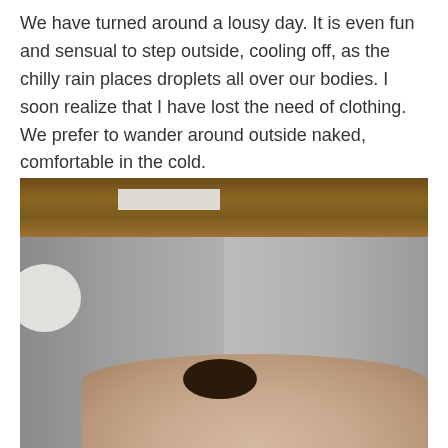We have turned around a lousy day. It is even fun and sensual to step outside, cooling off, as the chilly rain places droplets all over our bodies. I soon realize that I have lost the need of clothing. We prefer to wander around outside naked, comfortable in the cold.
[Figure (photo): Interior photo of what appears to be a rustic sauna or wooden structure with gray concrete/stone walls, wooden ceiling beams, a rectangular skylight, a round porthole window on the left wall, and a person visible at the bottom of the frame.]